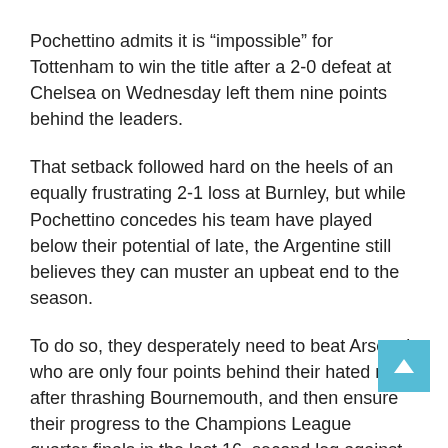Pochettino admits it is “impossible” for Tottenham to win the title after a 2-0 defeat at Chelsea on Wednesday left them nine points behind the leaders.
That setback followed hard on the heels of an equally frustrating 2-1 loss at Burnley, but while Pochettino concedes his team have played below their potential of late, the Argentine still believes they can muster an upbeat end to the season.
To do so, they desperately need to beat Arsenal, who are only four points behind their hated rivals after thrashing Bournemouth, and then ensure their progress to the Champions League quarter-finals in the last 16, second leg against Borussia Dortmund.
“Everyone from the beginning of the season should be